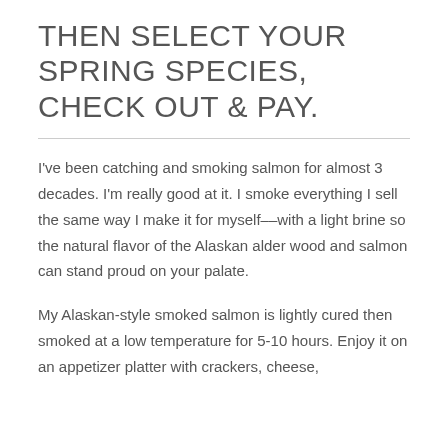THEN SELECT YOUR SPRING SPECIES, CHECK OUT & PAY.
I've been catching and smoking salmon for almost 3 decades. I'm really good at it. I smoke everything I sell the same way I make it for myself––with a light brine so the natural flavor of the Alaskan alder wood and salmon can stand proud on your palate.
My Alaskan-style smoked salmon is lightly cured then smoked at a low temperature for 5-10 hours. Enjoy it on an appetizer platter with crackers, cheese,